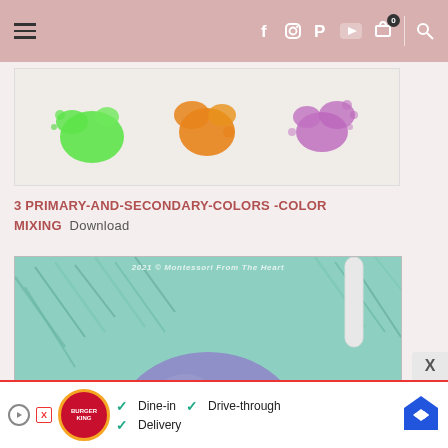Navigation bar with hamburger menu, social icons (Facebook, Instagram, Pinterest, YouTube), cart (0), and search
[Figure (illustration): Three watercolor paint splashes: green, orange, and purple on a light background]
3 PRIMARY-AND-SECONDARY-COLORS -COLOR MIXING  Download
[Figure (photo): Close-up photo of a purple fizzing/foamy ball surrounded by teal/mint green shredded paper or grass in a white container. Watermark text: 2021 © Montessori From The Heart]
Dine-in  Drive-through  Delivery
[Figure (logo): Burger King advertisement banner with Dine-in, Drive-through, and Delivery checkmarks, and a navigation/map icon]